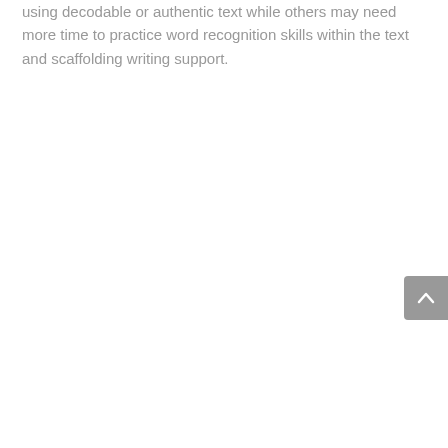using decodable or authentic text while others may need more time to practice word recognition skills within the text and scaffolding writing support.